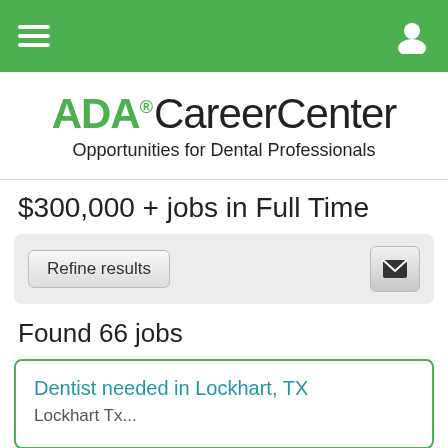ADA CareerCenter — navigation bar
ADA. CareerCenter
Opportunities for Dental Professionals
$300,000 + jobs in Full Time
Refine results
Found 66 jobs
Dentist needed in Lockhart, TX